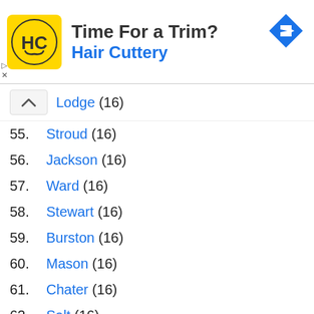[Figure (advertisement): Hair Cuttery ad banner with yellow HC logo, text 'Time For a Trim?' and 'Hair Cuttery' in blue, navigation arrow icon top right]
Lodge (16)
55. Stroud (16)
56. Jackson (16)
57. Ward (16)
58. Stewart (16)
59. Burston (16)
60. Mason (16)
61. Chater (16)
62. Salt (16)
63. Oliveira (16)
64. Mendez (16)
65. Caballero (16)
66. Silva (16)
67. Francis (16)